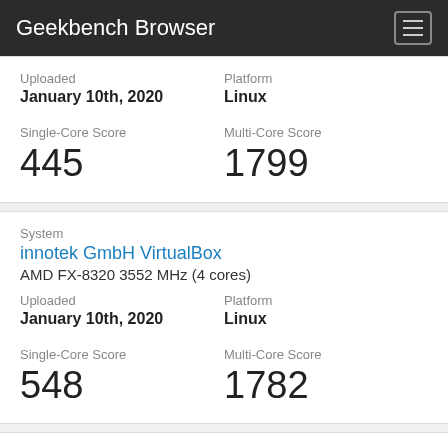Geekbench Browser
Uploaded: January 10th, 2020 | Platform: Linux | Single-Core Score: 445 | Multi-Core Score: 1799
System: innotek GmbH VirtualBox, AMD FX-8320 3552 MHz (4 cores) | Uploaded: January 10th, 2020 | Platform: Linux | Single-Core Score: 548 | Multi-Core Score: 1782
System